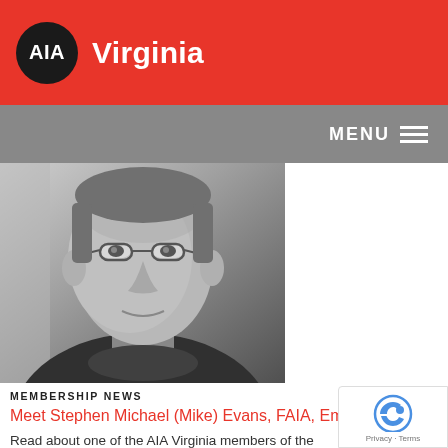AIA Virginia
[Figure (logo): AIA Virginia logo with black circle containing AIA text and Virginia wordmark in white on red background]
[Figure (photo): Black and white portrait photograph of Stephen Michael (Mike) Evans, a man wearing glasses and a turtleneck sweater]
MEMBERSHIP NEWS
Meet Stephen Michael (Mike) Evans, FAIA, Emeritus
Read about one of the AIA Virginia members of the College of Fellows.